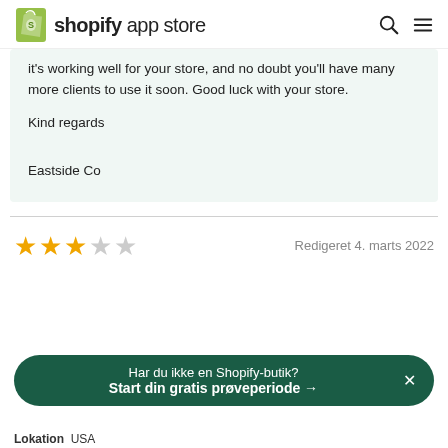shopify app store
it's working well for your store, and no doubt you'll have many more clients to use it soon. Good luck with your store.

Kind regards

Eastside Co
Redigeret 4. marts 2022
[Figure (infographic): 3-star rating with 3 filled gold stars and 2 empty grey stars]
Har du ikke en Shopify-butik? Start din gratis prøveperiode →
Lokation  USA